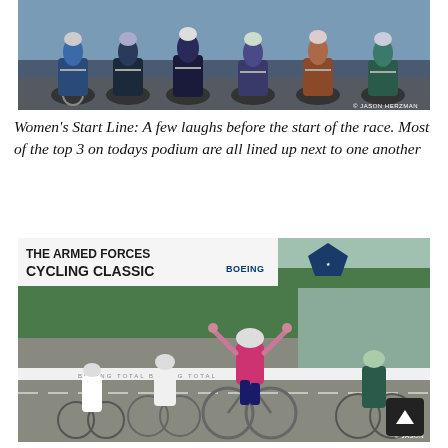[Figure (photo): Women cyclists at start line, close-up of riders on bikes lined up side by side, photo credit: Jason Herzman]
Women's Start Line: A few laughs before the start of the race. Most of the top 3 on todays podium are all lined up next to one another
[Figure (photo): Cyclist in pink jersey crossing finish line with arms raised at The Armed Forces Cycling Classic sponsored by Boeing, crowd cheering on the sides, photo credit: Jason]